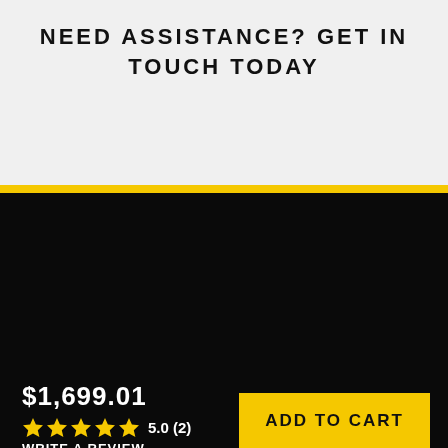NEED ASSISTANCE? GET IN TOUCH TODAY
KEEP THE INSPIRATION GOING
$1,699.01
5.0 (2)
WRITE A REVIEW
ADD TO CART